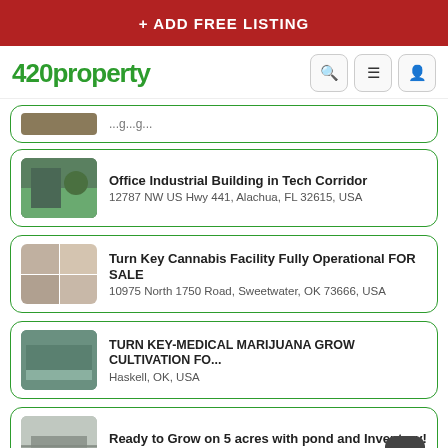+ ADD FREE LISTING
[Figure (logo): 420property logo with search, menu, and user icons]
(partial listing card - truncated at top)
Office Industrial Building in Tech Corridor
12787 NW US Hwy 441, Alachua, FL 32615, USA
Turn Key Cannabis Facility Fully Operational FOR SALE
10975 North 1750 Road, Sweetwater, OK 73666, USA
TURN KEY-MEDICAL MARIJUANA GROW CULTIVATION FO...
Haskell, OK, USA
Ready to Grow on 5 acres with pond and Inventory!
155 Rr 1 Box 155 Nowata, OK 74048
FEATURED LISTINGS